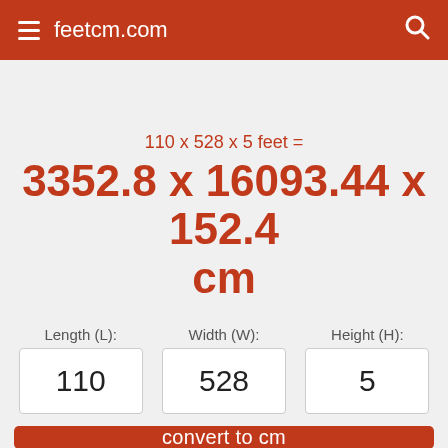feetcm.com
110 x 528 x 5 feet =
3352.8 x 16093.44 x 152.4 cm
| Length (L): | Width (W): | Height (H): |
| --- | --- | --- |
| 110 | 528 | 5 |
convert to cm